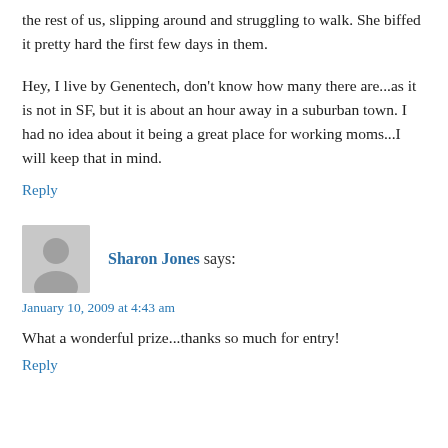the rest of us, slipping around and struggling to walk. She biffed it pretty hard the first few days in them.
Hey, I live by Genentech, don't know how many there are...as it is not in SF, but it is about an hour away in a suburban town. I had no idea about it being a great place for working moms...I will keep that in mind.
Reply
[Figure (illustration): Gray avatar/user icon placeholder image]
Sharon Jones says:
January 10, 2009 at 4:43 am
What a wonderful prize...thanks so much for entry!
Reply